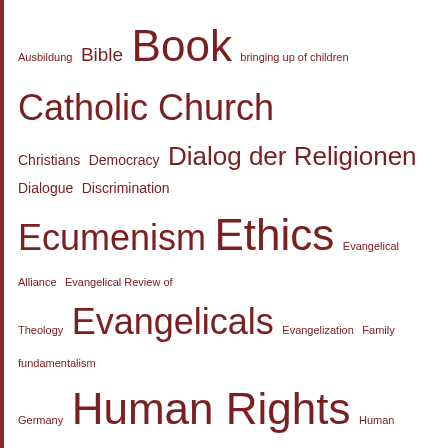[Figure (other): Tag cloud with religious and theological topics in German and English, displayed in varying font sizes and dark red color. Terms include: Ausbildung, Bible, Book, bringing up of children, Catholic Church, Christians, Democracy, Dialog der Religionen, Dialogue, Discrimination, Ecumenism, Ethics, Evangelical Alliance, Evangelical Review of Theology, Evangelicals, Evangelization, Family, fundamentalism, Germany, Human Rights, Human Trafficking, IGFM, IIRF, International Institute for Religious Freedom]
Wir verwenden Cookies, um unsere Website und unseren Service zu optimieren.
Cookies akzeptieren
Nur funktionale Cookies
Einstellungen anzeigen
Privacy Policy   Privacy Policy   Imprint